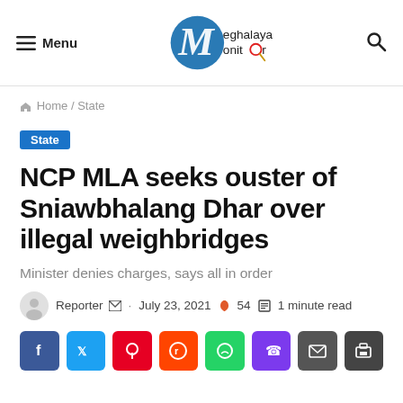Menu | Meghalaya Monitor | Search
Home / State
State
NCP MLA seeks ouster of Sniawbhalang Dhar over illegal weighbridges
Minister denies charges, says all in order
Reporter · July 23, 2021 · 54 · 1 minute read